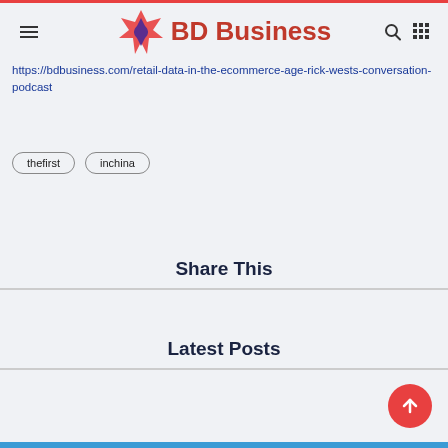BD Business
https://bdbusiness.com/retail-data-in-the-ecommerce-age-rick-wests-conversation-podcast
thefirst
inchina
Share This
Latest Posts